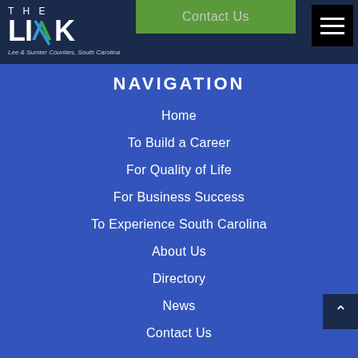[Figure (logo): THE LINK logo with blue/green arrow graphic and tagline 'Lee & Sumter Counties, South Carolina']
Contact Us
NAVIGATION
Home
To Build a Career
For Quality of Life
For Business Success
To Experience South Carolina
About Us
Directory
News
Contact Us